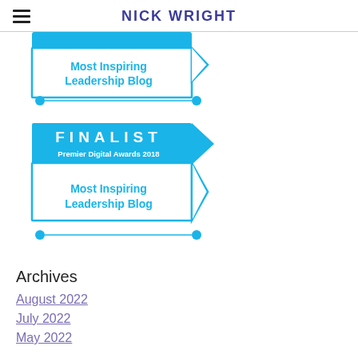NICK WRIGHT
[Figure (logo): Partial award badge (top cropped): blue outlined box with 'Most Inspiring Leadership Blog' in blue text, with dots at corners connected by lines]
[Figure (logo): Full award badge: blue filled header with 'FINALIST Premier Digital Awards 2018', below is blue outlined box with 'Most Inspiring Leadership Blog' in blue text, dots at corners]
Archives
August 2022
July 2022
May 2022